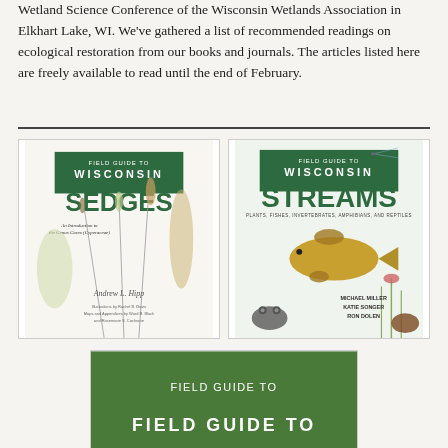Wetland Science Conference of the Wisconsin Wetlands Association in Elkhart Lake, WI. We've gathered a list of recommended readings on ecological restoration from our books and journals. The articles listed here are freely available to read until the end of February.
[Figure (photo): Book cover: Field Guide to Wisconsin Sedges by Andrew L. Hipp, with botanical illustrations of sedge plants on a white background]
[Figure (photo): Book cover: Field Guide to Wisconsin Streams - Plants, Fishes, Invertebrates, Amphibians, and Reptiles, with illustrations of a dragonfly, fish, frog, and aquatic plants]
[Figure (photo): Partial book cover: Field Guide to Wisconsin (title cut off at bottom of page)]